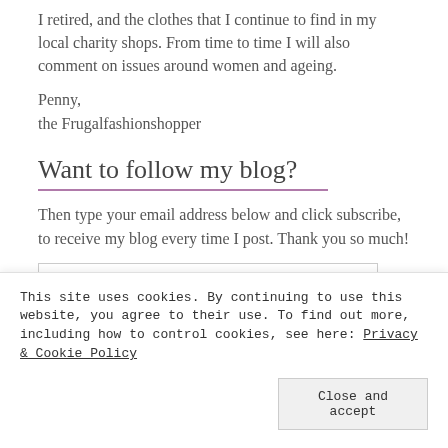I retired, and the clothes that I continue to find in my local charity shops. From time to time I will also comment on issues around women and ageing.
Penny,
the Frugalfashionshopper
Want to follow my blog?
Then type your email address below and click subscribe, to receive my blog every time I post. Thank you so much!
Your Email Address
This site uses cookies. By continuing to use this website, you agree to their use. To find out more, including how to control cookies, see here: Privacy & Cookie Policy
Close and accept